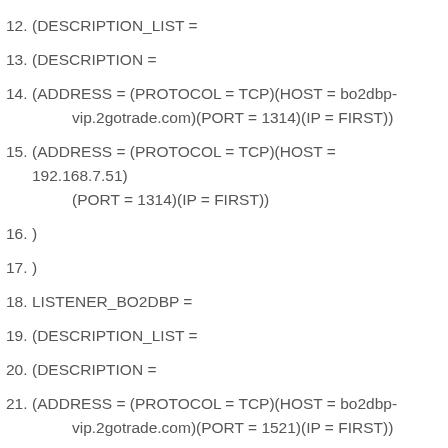12. (DESCRIPTION_LIST =
13. (DESCRIPTION =
14. (ADDRESS = (PROTOCOL = TCP)(HOST = bo2dbp-vip.2gotrade.com)(PORT = 1314)(IP = FIRST))
15. (ADDRESS = (PROTOCOL = TCP)(HOST = 192.168.7.51)(PORT = 1314)(IP = FIRST))
16. )
17. )
18. LISTENER_BO2DBP =
19. (DESCRIPTION_LIST =
20. (DESCRIPTION =
21. (ADDRESS = (PROTOCOL = TCP)(HOST = bo2dbp-vip.2gotrade.com)(PORT = 1521)(IP = FIRST))
22. (ADDRESS = (PROTOCOL = TCP)(HOST = 192.168.7.51)